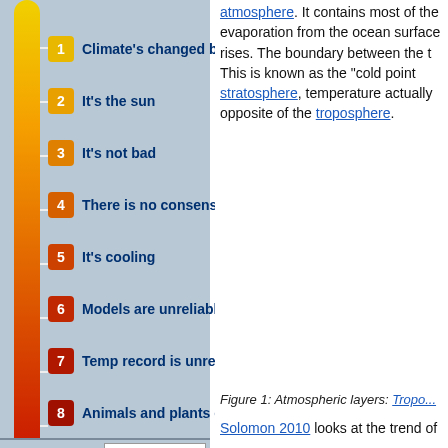1 Climate's changed before
2 It's the sun
3 It's not bad
4 There is no consensus
5 It's cooling
6 Models are unreliable
7 Temp record is unreliable
8 Animals and plants can adapt
9 It hasn't warmed since 1998
10 Antarctica is gaining ice
View All Arguments...
Username
Pa
Look up a Term
atmosphere. It contains most of the evaporation from the ocean surface rises. The boundary between the t This is known as the "cold point stratosphere, temperature actually opposite of the troposphere.
Figure 1: Atmospheric layers: Tropo...
Solomon 2010 looks at the trend of